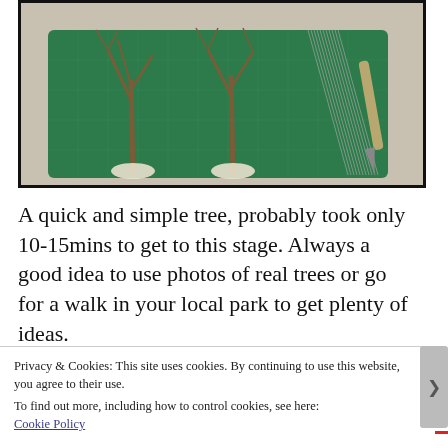[Figure (photo): Photo of three wire-framed miniature tree armatures standing on a green cutting mat, with tape at their bases. A metal tool (pen/stylus) lies to the right on the mat. The mat is on a speckled countertop.]
A quick and simple tree, probably took only 10-15mins to get to this stage. Always a good idea to use photos of real trees or go for a walk in your local park to get plenty of ideas.
Privacy & Cookies: This site uses cookies. By continuing to use this website, you agree to their use.
To find out more, including how to control cookies, see here:
Cookie Policy